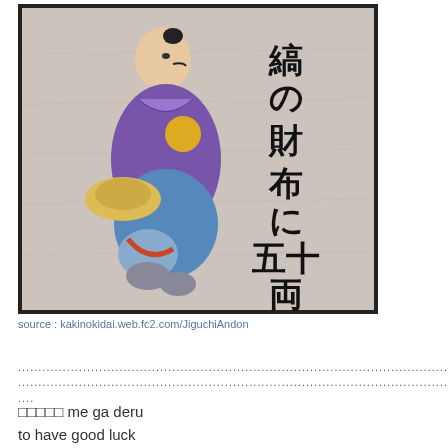[Figure (illustration): Japanese ink illustration on textured paper background showing a figure in purple kimono carrying items, with Japanese kanji text reading 縞の財布に五十両]
source : kakinokidai.web.fc2.com/JiguchiAndon
............................................................................................................................................................................
....
□□□□□ me ga deru
to have good luck